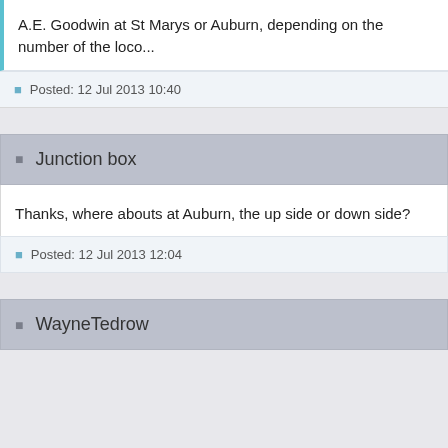A.E. Goodwin at St Marys or Auburn, depending on the number of the loco...
Posted: 12 Jul 2013 10:40
Junction box
Thanks, where abouts at Auburn, the up side or down side?
Posted: 12 Jul 2013 12:04
WayneTedrow